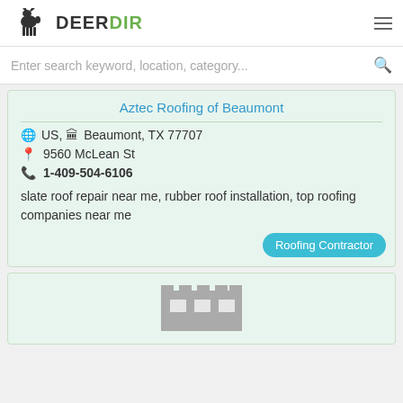DeerDir
Enter search keyword, location, category...
Aztec Roofing of Beaumont
US, Beaumont, TX 77707
9560 McLean St
1-409-504-6106
slate roof repair near me, rubber roof installation, top roofing companies near me
Roofing Contractor
[Figure (illustration): Partial view of a second business listing card showing a grey building/business icon at the bottom of the page]